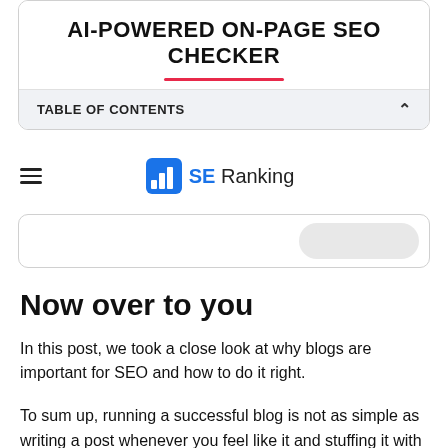AI-POWERED ON-PAGE SEO CHECKER
TABLE OF CONTENTS
[Figure (logo): SE Ranking logo with bar chart icon in blue, hamburger menu icon on the left]
Now over to you
In this post, we took a close look at why blogs are important for SEO and how to do it right.
To sum up, running a successful blog is not as simple as writing a post whenever you feel like it and stuffing it with a bunch of keywords.